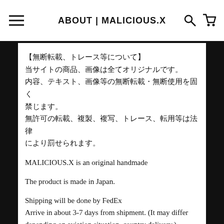ABOUT | MALICIOUS.X
【無断転載、トレース等について】
当サイトの商品、画像は全てオリジナルです。
内容、テキスト、画像等の無断転載・無断使用を固く禁じます。
無許可の転載、複製、複写、トレース、転用等は法律により罰せられます。
MALICIOUS.X is an original handmade
The product is made in Japan.
Shipping will be done by FedEx
Arrive in about 3-7 days from shipment. (It may differ depending on aviation situation, country delivery.)